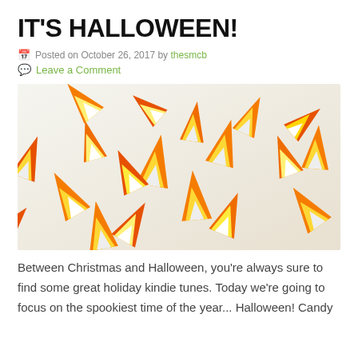IT'S HALLOWEEN!
Posted on October 26, 2017 by thesmcb
Leave a Comment
[Figure (photo): Close-up photo of many candy corn pieces piled together, showing their orange, yellow, and white tri-color pattern]
Between Christmas and Halloween, you're always sure to find some great holiday kindie tunes. Today we're going to focus on the spookiest time of the year... Halloween! Candy